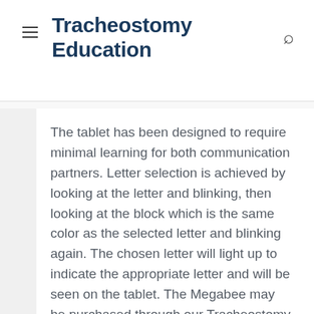Tracheostomy Education
The tablet has been designed to require minimal learning for both communication partners. Letter selection is achieved by looking at the letter and blinking, then looking at the block which is the same color as the selected letter and blinking again. The chosen letter will light up to indicate the appropriate letter and will be seen on the tablet. The Megabee may be purchased through our Tracheostomy store, here.